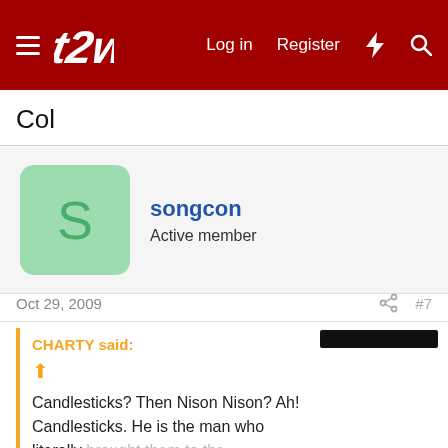t2w — Log in  Register
Col
songcon — Active member
Oct 29, 2009   #7
CHARTY said: ↑ Candlesticks? Then Nison Nison? Ah! Candlesticks. He is the man who literally brought them to the Western... Click to expand...